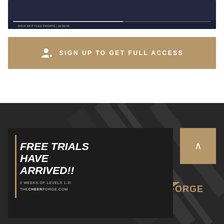[Figure (screenshot): Dark video player screenshot with progress bar and playback controls at bottom]
SIGN UP TO GET FULL ACCESS
[Figure (illustration): The Cheer Forge promotional banner: FREE TRIALS HAVE ARRIVED!! 2 WEEKS OF LEVELS 1-3! THECHEERFORGE.COM with star logo and diagonal graphic elements]